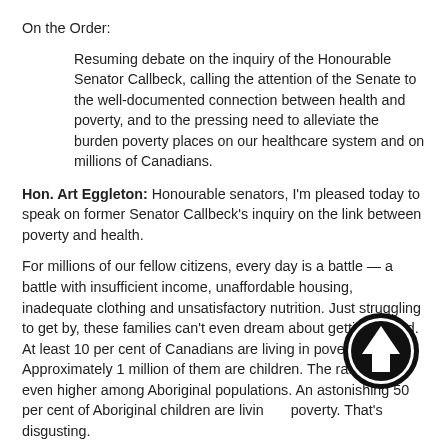On the Order:
Resuming debate on the inquiry of the Honourable Senator Callbeck, calling the attention of the Senate to the well-documented connection between health and poverty, and to the pressing need to alleviate the burden poverty places on our healthcare system and on millions of Canadians.
Hon. Art Eggleton: Honourable senators, I'm pleased today to speak on former Senator Callbeck's inquiry on the link between poverty and health.
For millions of our fellow citizens, every day is a battle — a battle with insufficient income, unaffordable housing, inadequate clothing and unsatisfactory nutrition. Just struggling to get by, these families can't even dream about getting ahead. At least 10 per cent of Canadians are living in poverty. Approximately 1 million of them are children. The rates are even higher among Aboriginal populations. An astonishing 50 per cent of Aboriginal children are living in poverty. That's disgusting.
Perhaps more alarming is that the House of Commons committed 25 years ago, in 1989, to eliminating child poverty by the year 2000. Here we are, 14 years past the deadline, 25 years since the
[Figure (other): Upward arrow navigation icon — black circle with white upward-pointing arrow inside]